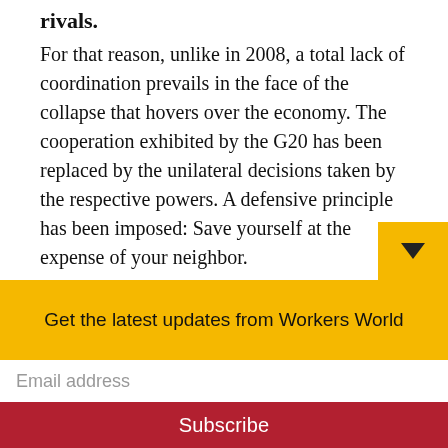rivals.
For that reason, unlike in 2008, a total lack of coordination prevails in the face of the collapse that hovers over the economy. The cooperation exhibited by the G20 has been replaced by the unilateral decisions taken by the respective powers. A defensive principle has been imposed: Save yourself at the expense of your neighbor.
Not only does the United States decide measures without consulting Europe (the suspension of flights, for example), but the
Get the latest updates from Workers World
Email address
Subscribe